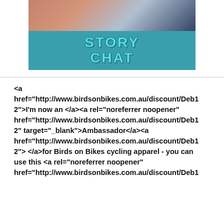[Figure (illustration): A banner image with a photo at top (showing a person on a bike, close-up of arm/torso) and a teal background below with bold stylized text reading 'STORY CHAT' in light blue/cyan chunky letters.]
<a href="http://www.birdsonbikes.com.au/discount/Deb12">I'm now an </a><a rel="noreferrer noopener" href="http://www.birdsonbikes.com.au/discount/Deb12" target="_blank">Ambassador</a><a href="http://www.birdsonbikes.com.au/discount/Deb12"> </a>for Birds on Bikes cycling apparel - you can use this <a rel="noreferrer noopener" href="http://www.birdsonbikes.com.au/discount/Deb1